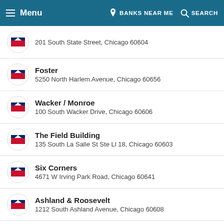Menu | BANKS NEAR ME | SEARCH
201 South State Street, Chicago 60604
Foster
5250 North Harlem Avenue, Chicago 60656
Wacker / Monroe
100 South Wacker Drive, Chicago 60606
The Field Building
135 South La Salle St Ste Ll 18, Chicago 60603
Six Corners
4671 W Irving Park Road, Chicago 60641
Ashland & Roosevelt
1212 South Ashland Avenue, Chicago 60608
Stony Island
1651 East 95th Street, Chicago 60617
Logan Square
3350 West Diversey Avenue, Chicago 60647